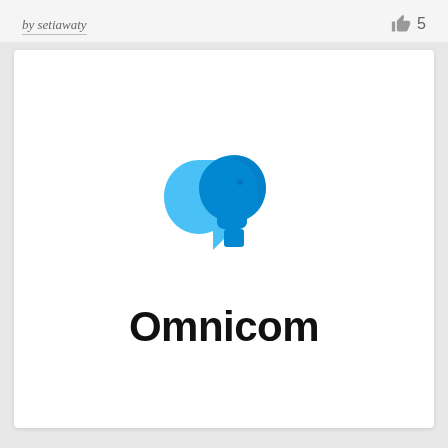by setiawaty
5
[Figure (logo): Omnicom logo: two overlapping blue human head silhouettes (one lighter blue speech-bubble style, one darker blue face profile) forming a combined communication icon, with the word 'Omnicom' in bold black sans-serif below.]